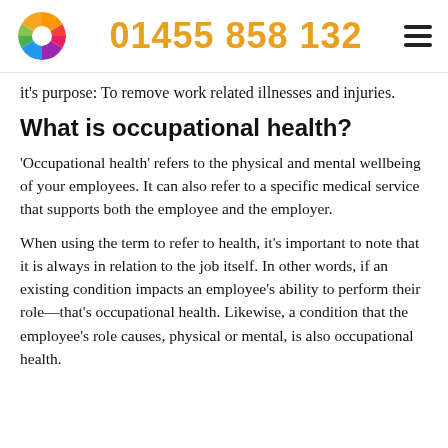01455 858 132
it's purpose: To remove work related illnesses and injuries.
What is occupational health?
'Occupational health' refers to the physical and mental wellbeing of your employees. It can also refer to a specific medical service that supports both the employee and the employer.
When using the term to refer to health, it's important to note that it is always in relation to the job itself. In other words, if an existing condition impacts an employee's ability to perform their role—that's occupational health. Likewise, a condition that the employee's role causes, physical or mental, is also occupational health.